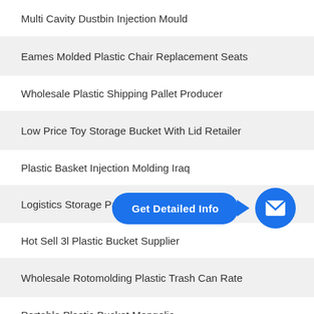Multi Cavity Dustbin Injection Mould
Eames Molded Plastic Chair Replacement Seats
Wholesale Plastic Shipping Pallet Producer
Low Price Toy Storage Bucket With Lid Retailer
Plastic Basket Injection Molding Iraq
Logistics Storage Palle…
[Figure (infographic): Blue 'Get Detailed Info' pill-shaped button with arrow pointing to a blue circle containing a white envelope/mail icon]
Hot Sell 3l Plastic Bucket Supplier
Wholesale Rotomolding Plastic Trash Can Rate
Portable Plastic Bucket Mongolia
Custom 5 Gallon Utility Bucket Mold